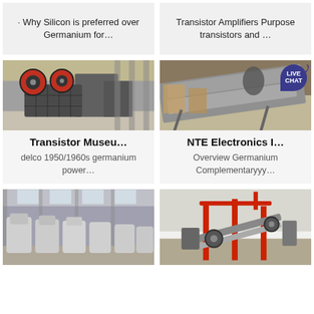· Why Silicon is preferred over Germanium for…
Transistor Amplifiers Purpose transistors and …
[Figure (photo): Industrial jaw crusher machinery in a factory/warehouse setting with large red flywheels]
[Figure (photo): Industrial vibrating screen or conveyor machinery in a warehouse, with LIVE CHAT badge overlay]
Transistor Museu…
NTE Electronics I…
delco 1950/1960s germanium power…
Overview Germanium Complementaryyy…
[Figure (photo): Row of white industrial jaw crushers inside a large factory building]
[Figure (photo): Red crane/conveyor industrial equipment outdoors]